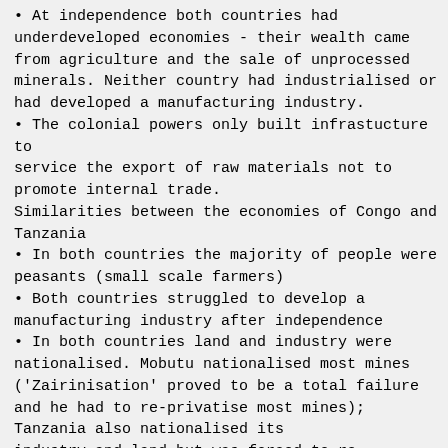At independence both countries had underdeveloped economies - their wealth came from agriculture and the sale of unprocessed minerals. Neither country had industrialised or had developed a manufacturing industry.
The colonial powers only built infrastucture to service the export of raw materials not to promote internal trade.
Similarities between the economies of Congo and Tanzania
In both countries the majority of people were peasants (small scale farmers)
Both countries struggled to develop a manufacturing industry after independence
In both countries land and industry were nationalised. Mobutu nationalised most mines ('Zairinisation' proved to be a total failure and he had to re-privatise most mines); Tanzania also nationalised its industry and land but was forced to re-privatise